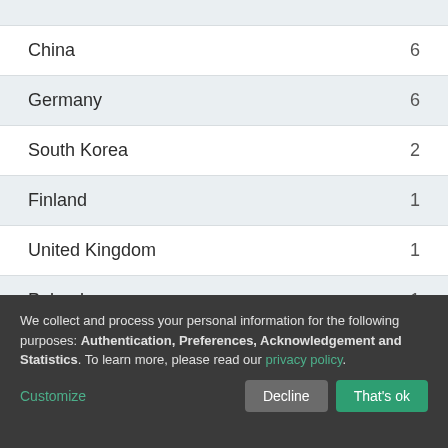| Country | Count |
| --- | --- |
| China | 6 |
| Germany | 6 |
| South Korea | 2 |
| Finland | 1 |
| United Kingdom | 1 |
| Poland | 1 |
| Taiwan | 1 |
We collect and process your personal information for the following purposes: Authentication, Preferences, Acknowledgement and Statistics. To learn more, please read our privacy policy.